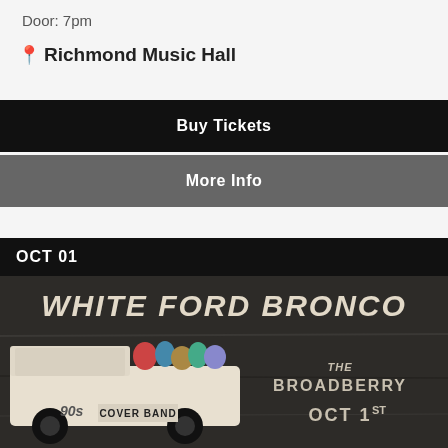Door: 7pm
📍 Richmond Music Hall
Buy Tickets
More Info
OCT 01
[Figure (photo): Event poster for White Ford Bronco, a 90s cover band, at The Broadberry on Oct 1st. Shows a white Ford Bronco truck filled with people and large stylized text.]